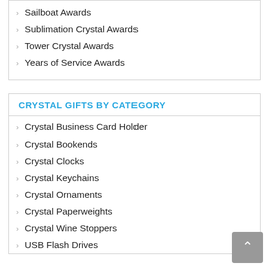Sailboat Awards
Sublimation Crystal Awards
Tower Crystal Awards
Years of Service Awards
CRYSTAL GIFTS BY CATEGORY
Crystal Business Card Holder
Crystal Bookends
Crystal Clocks
Crystal Keychains
Crystal Ornaments
Crystal Paperweights
Crystal Wine Stoppers
USB Flash Drives